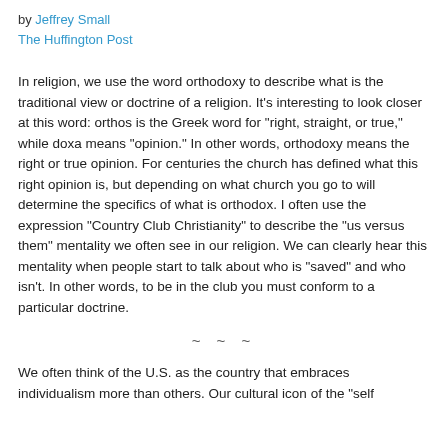by Jeffrey Small
The Huffington Post
In religion, we use the word orthodoxy to describe what is the traditional view or doctrine of a religion. It's interesting to look closer at this word: orthos is the Greek word for "right, straight, or true," while doxa means "opinion." In other words, orthodoxy means the right or true opinion. For centuries the church has defined what this right opinion is, but depending on what church you go to will determine the specifics of what is orthodox. I often use the expression "Country Club Christianity" to describe the "us versus them" mentality we often see in our religion. We can clearly hear this mentality when people start to talk about who is "saved" and who isn't. In other words, to be in the club you must conform to a particular doctrine.
~ ~ ~
We often think of the U.S. as the country that embraces individualism more than others. Our cultural icon of the "self...